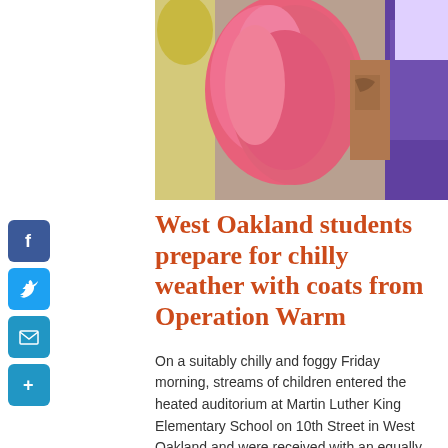[Figure (photo): Photo of colorful children's coats being held up, including a prominent pink coat, with people visible in the background including someone in a FedEx purple shirt.]
West Oakland students prepare for chilly weather with coats from Operation Warm
On a suitably chilly and foggy Friday morning, streams of children entered the heated auditorium at Martin Luther King Elementary School on 10th Street in West Oakland and were received with an equally warm welcome by dozens of FedEx employees who were